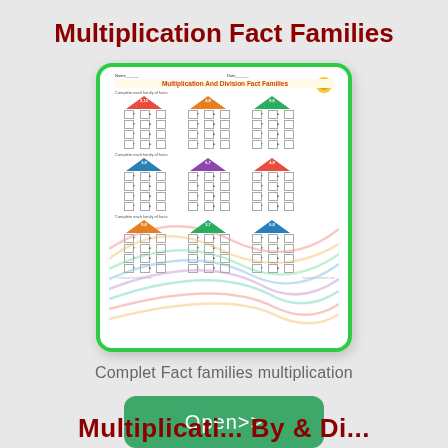Multiplication Fact Families
[Figure (illustration): A worksheet preview image showing 'Multiplication And Division Fact Families' with house-shaped fact family diagrams arranged in three rows of three houses each, with colorful wave background patterns. The worksheet has fill-in boxes for multiplication and division facts.]
Complet Fact families multiplication
Open>>
Multiplicati... By & Di...